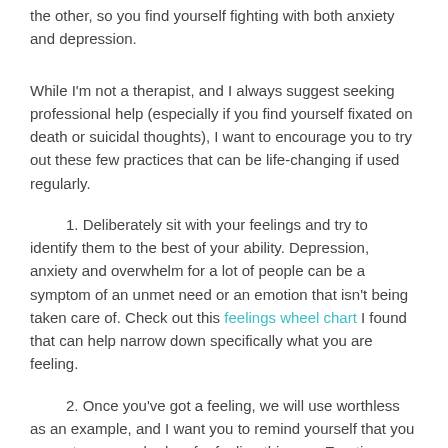the other, so you find yourself fighting with both anxiety and depression.
While I'm not a therapist, and I always suggest seeking professional help (especially if you find yourself fixated on death or suicidal thoughts), I want to encourage you to try out these few practices that can be life-changing if used regularly.
1. Deliberately sit with your feelings and try to identify them to the best of your ability. Depression, anxiety and overwhelm for a lot of people can be a symptom of an unmet need or an emotion that isn't being taken care of. Check out this feelings wheel chart I found that can help narrow down specifically what you are feeling.
2. Once you've got a feeling, we will use worthless as an example, and I want you to remind yourself that you are not wrong or broken for feeling this way. Emotions are never right or wrong; they simply are what they are. Hating them or wishing you didn't have them will not serve you; that will only start creating hatred and resentment toward your own faults